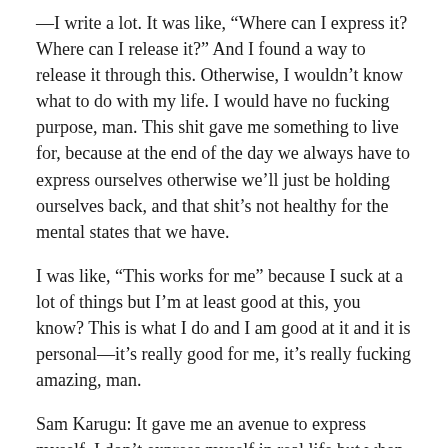—I write a lot. It was like, “Where can I express it? Where can I release it?” And I found a way to release it through this. Otherwise, I wouldn’t know what to do with my life. I would have no fucking purpose, man. This shit gave me something to live for, because at the end of the day we always have to express ourselves otherwise we’ll just be holding ourselves back, and that shit’s not healthy for the mental states that we have.
I was like, “This works for me” because I suck at a lot of things but I’m at least good at this, you know? This is what I do and I am good at it and it is personal—it’s really good for me, it’s really fucking amazing, man.
Sam Karugu: It gave me an avenue to express myself. I don’t express myself in real life but when I play metal or heavy music, I take what I feel inside and just release